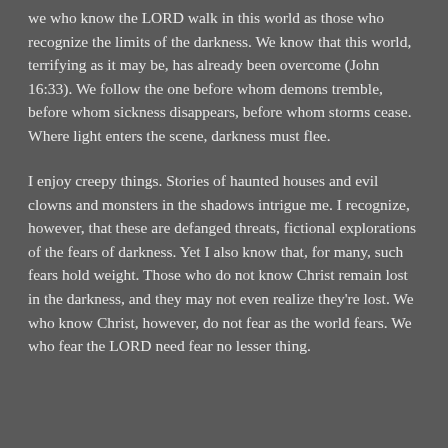we who know the LORD walk in this world as those who recognize the limits of the darkness. We know that this world, terrifying as it may be, has already been overcome (John 16:33). We follow the one before whom demons tremble, before whom sickness disappears, before whom storms cease. Where light enters the scene, darkness must flee.
I enjoy creepy things. Stories of haunted houses and evil clowns and monsters in the shadows intrigue me. I recognize, however, that these are defanged threats, fictional explorations of the fears of darkness. Yet I also know that, for many, such fears hold weight. Those who do not know Christ remain lost in the darkness, and they may not even realize they're lost. We who know Christ, however, do not fear as the world fears. We who fear the LORD need fear no lesser thing.